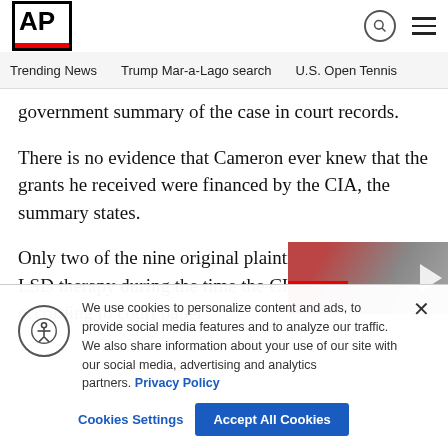AP
Trending News   Trump Mar-a-Lago search   U.S. Open Tennis
government summary of the case in court records.
There is no evidence that Cameron ever knew that the grants he received were financed by the CIA, the summary states.
Only two of the nine original plaintiffs were given LSD therapy during the time the CIA fi... research, according to court paper...
We use cookies to personalize content and ads, to provide social media features and to analyze our traffic. We also share information about your use of our site with our social media, advertising and analytics partners. Privacy Policy